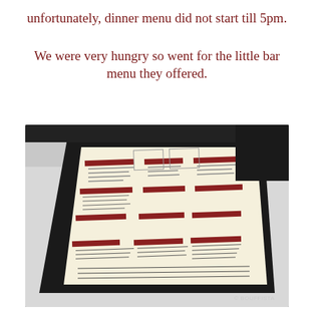unfortunately, dinner menu did not start till 5pm.
We were very hungry so went for the little bar menu they offered.
[Figure (photo): A bar/restaurant menu on a dark menu holder/clipboard, photographed at an angle on a white table. The menu shows text and dark red/maroon section headers. Watermark reads '© BOUFFISTA' in bottom right corner.]